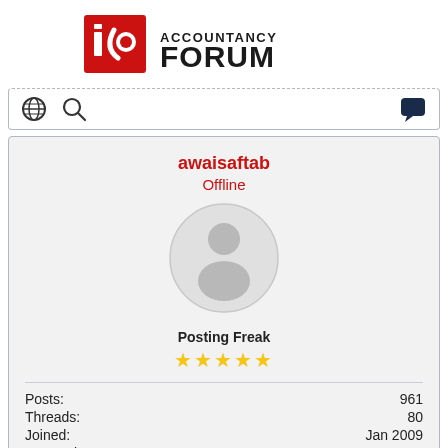[Figure (logo): Accountancy Forum logo with red 'ia' icon and bold ACCOUNTANCY FORUM text]
[Figure (screenshot): Navigation bar with globe icon, search icon on left, and chat bubble icon on right]
awaisaftab
Offline
[Figure (illustration): Default user avatar - grey circle with silhouette of a person]
Posting Freak
★★★★★
| Label | Value |
| --- | --- |
| Posts: | 961 |
| Threads: | 80 |
| Joined: | Jan 2009 |
| Reputation: | 0 |